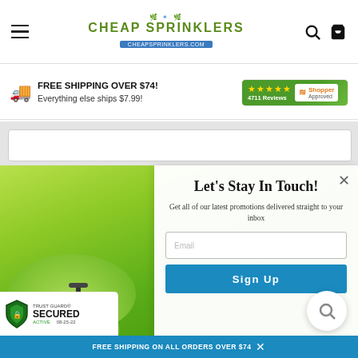[Figure (logo): Cheap Sprinklers logo with bird icon and website URL badge]
FREE SHIPPING OVER $74! Everything else ships $7.99!
[Figure (other): Shopper Approved badge with 5 stars and 4711 Reviews]
Let's Stay In Touch!
Get all of our latest promotions delivered straight to your inbox
[Figure (other): Email input field placeholder]
[Figure (other): Sign Up button]
[Figure (other): Trust Guard Secured Active badge 08-25-22]
FREE SHIPPING ON ALL ORDERS OVER $74